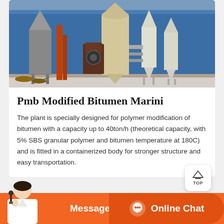[Figure (photo): Industrial bitumen modification plant with silos and processing equipment against blue corrugated metal wall background]
Pmb Modified Bitumen Marini
The plant is specially designed for polymer modification of bitumen with a capacity up to 40ton/h (theoretical capacity, with 5% SBS granular polymer and bitumen temperature at 180C) and is fitted in a containerized body for stronger structure and easy transportation.
[Figure (photo): Industrial equipment inside a warehouse or factory building, partially visible at bottom of page]
[Figure (photo): Customer service agent (woman with headset) image overlaid on orange chat bar at bottom]
Message
Online Chat